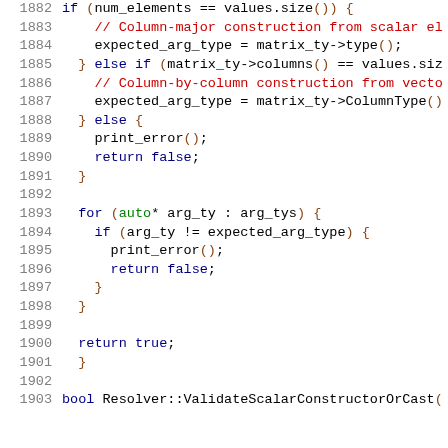Source code listing, lines 1882–1903, C++ resolver implementation